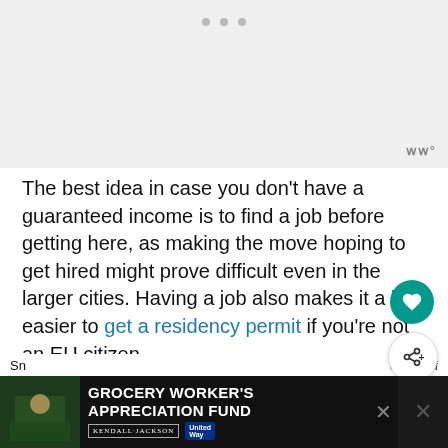[Figure (other): Top advertisement placeholder area with three dots and a brand watermark (ww° style logo) in bottom-right corner]
The best idea in case you don't have a guaranteed income is to find a job before getting here, as making the move hoping to get hired might prove difficult even in the larger cities. Having a job also makes it a lot easier to get a residency permit if you're not an EU citizen.
5. Cost of living differs
[Figure (other): Advertisement banner: Grocery Worker's Appreciation Fund with Kendall Jackson and United Way logos, photo of grocery worker on left, X close button]